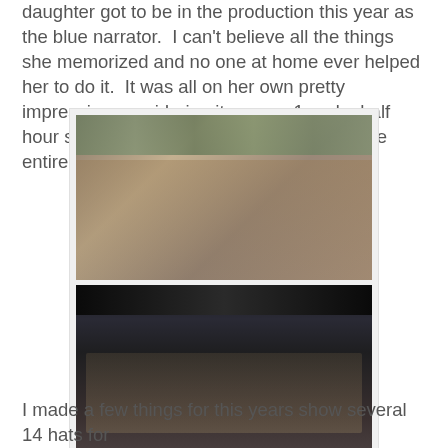daughter got to be in the production this year as the blue narrator.  I can't believe all the things she memorized and no one at home ever helped her to do it.  It was all on her own pretty impressive considering it was an 1 and a half hour show and she had lines through out the entire play.
[Figure (photo): Group photo of children and youth in costume standing in front of a wall covered with artwork/posters, some holding flowers, dressed in theatrical costumes for a school play.]
[Figure (photo): Large group photo of cast members in costume on a darkened stage with green foliage arch decoration, posing for a group shot after a theatrical performance.]
I made a few things for this years show several 14 hats for